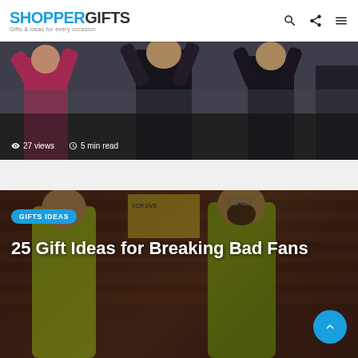SHOPPERGIFTS – Gifts & ideas for every occasion
[Figure (photo): Dark toned photo of people with arms raised, possibly in costumes, with text overlay showing 27 views and 5 min read]
[Figure (photo): Photo of Breaking Bad cosplay/themed image with brick wall background and people in yellow hazmat suits, with GIFTS IDEAS badge and title overlay]
25 Gift Ideas for Breaking Bad Fans